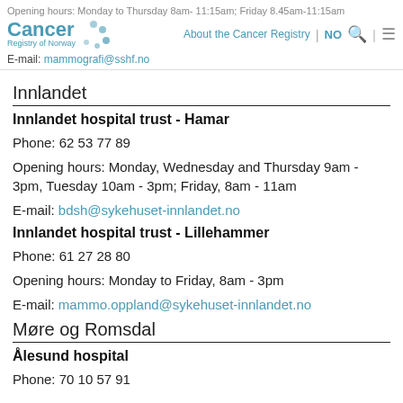Opening hours: Monday to Thursday 8am- 11:15am; Friday 8.45am-11:15am
About the Cancer Registry | NO
Cancer Registry of Norway [logo]
E-mail: mammografi@sshf.no
Innlandet
Innlandet hospital trust - Hamar
Phone: 62 53 77 89
Opening hours: Monday, Wednesday and Thursday 9am - 3pm, Tuesday 10am - 3pm; Friday, 8am - 11am
E-mail: bdsh@sykehuset-innlandet.no
Innlandet hospital trust - Lillehammer
Phone: 61 27 28 80
Opening hours: Monday to Friday, 8am - 3pm
E-mail: mammo.oppland@sykehuset-innlandet.no
Møre og Romsdal
Ålesund hospital
Phone: 70 10 57 91